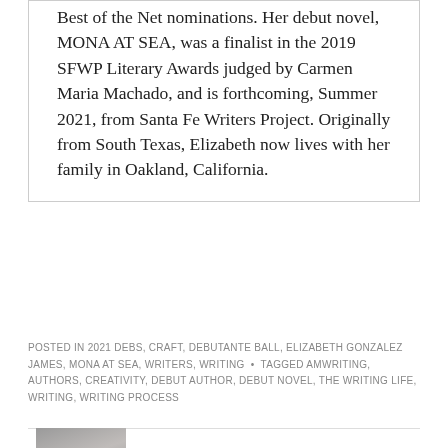Best of the Net nominations. Her debut novel, MONA AT SEA, was a finalist in the 2019 SFWP Literary Awards judged by Carmen Maria Machado, and is forthcoming, Summer 2021, from Santa Fe Writers Project. Originally from South Texas, Elizabeth now lives with her family in Oakland, California.
POSTED IN 2021 DEBS, CRAFT, DEBUTANTE BALL, ELIZABETH GONZALEZ JAMES, MONA AT SEA, WRITERS, WRITING • TAGGED AMWRITING, AUTHORS, CREATIVITY, DEBUT AUTHOR, DEBUT NOVEL, THE WRITING LIFE, WRITING, WRITING PROCESS
[Figure (photo): Partial author photo showing top of head, cropped at bottom of page]